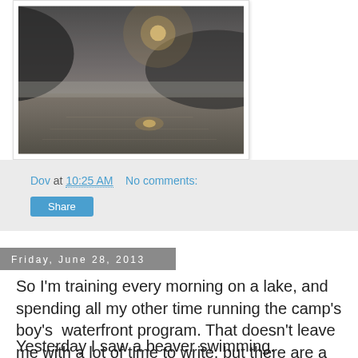[Figure (photo): Misty lake scene at sunrise/sunset with reflections of light on calm water and dark hills in background]
Dov at 10:25 AM   No comments:
Share
Friday, June 28, 2013
So I'm training every morning on a lake, and spending all my other time running the camp's boy's  waterfront program. That doesn't leave me with a lot of time to write, but there are a couple of things I wanted to get out there.
Yesterday I saw a beaver swimming.